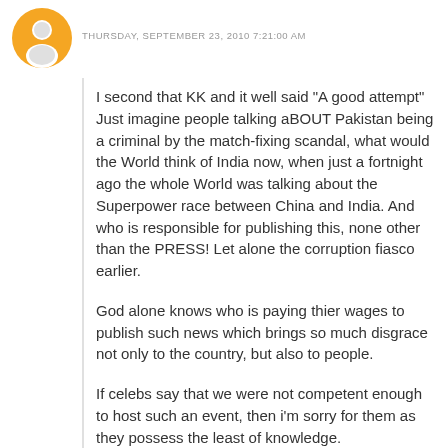[Figure (illustration): Orange circle blogger avatar icon with person silhouette]
THURSDAY, SEPTEMBER 23, 2010 7:21:00 AM
I second that KK and it well said "A good attempt" Just imagine people talking aBOUT Pakistan being a criminal by the match-fixing scandal, what would the World think of India now, when just a fortnight ago the whole World was talking about the Superpower race between China and India. And who is responsible for publishing this, none other than the PRESS! Let alone the corruption fiasco earlier.
God alone knows who is paying thier wages to publish such news which brings so much disgrace not only to the country, but also to people.
If celebs say that we were not competent enough to host such an event, then i'm sorry for them as they possess the least of knowledge.
Atleast credit the people for putting up such a piece, if not upto to the standards of the OTHER countries.
I waiting for the games to begin and hope all atheletes play with full spirit!